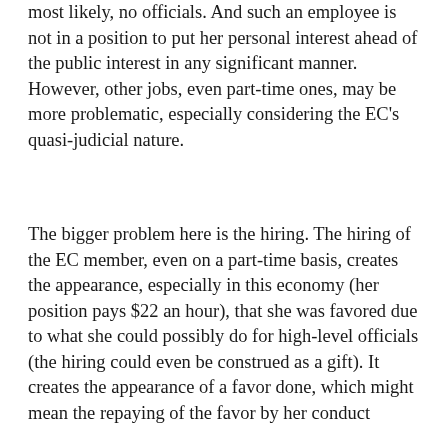most likely, no officials. And such an employee is not in a position to put her personal interest ahead of the public interest in any significant manner. However, other jobs, even part-time ones, may be more problematic, especially considering the EC's quasi-judicial nature.
The bigger problem here is the hiring. The hiring of the EC member, even on a part-time basis, creates the appearance, especially in this economy (her position pays $22 an hour), that she was favored due to what she could possibly do for high-level officials (the hiring could even be construed as a gift). It creates the appearance of a favor done, which might mean the repaying of the favor by her conduct